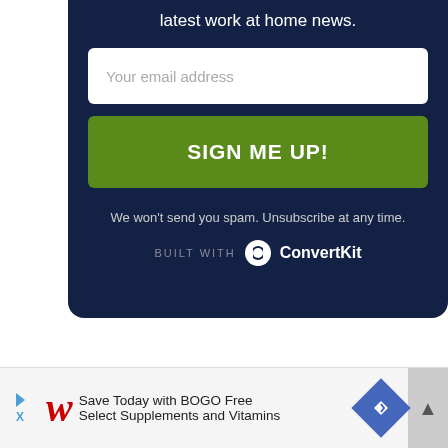latest work at home news.
Your email address
SIGN ME UP!
We won't send you spam. Unsubscribe at any time.
BUILT WITH ConvertKit
[Figure (infographic): Walgreens advertisement banner: Save Today with BOGO Free Select Supplements and Vitamins]
Save Today with BOGO Free Select Supplements and Vitamins